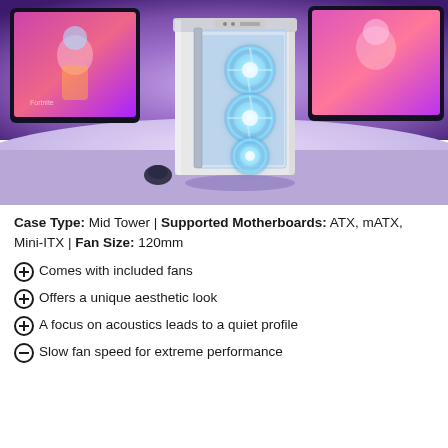[Figure (photo): A white mid-tower PC case with RGB fans glowing blue/white, sitting on a white desk, with purple-lit gaming monitors in the background showing a colorful character]
Case Type: Mid Tower | Supported Motherboards: ATX, mATX, Mini-ITX | Fan Size: 120mm
Comes with included fans
Offers a unique aesthetic look
A focus on acoustics leads to a quiet profile
Slow fan speed for extreme performance